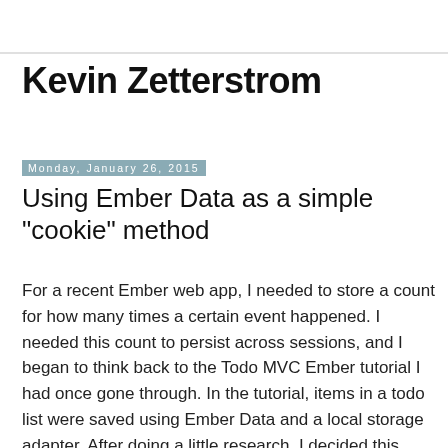Kevin Zetterstrom
Monday, January 26, 2015
Using Ember Data as a simple "cookie" method
For a recent Ember web app, I needed to store a count for how many times a certain event happened. I needed this count to persist across sessions, and I began to think back to the Todo MVC Ember tutorial I had once gone through. In the tutorial, items in a todo list were saved using Ember Data and a local storage adapter. After doing a little research, I decided this would be an appropriate way for me to approach this task. If you aren't already using Ember Data, download the js file. In addition to Ember Data, I went to Emberjs.com to find the link to the local storage adapter that was used in the tutorial. You can find it here. In order to use it, you need to tell your application that you are using it in